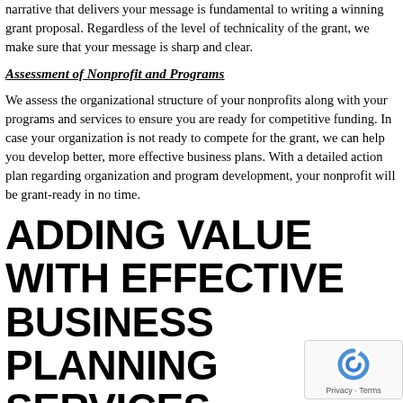narrative that delivers your message is fundamental to writing a winning grant proposal. Regardless of the level of technicality of the grant, we make sure that your message is sharp and clear.
Assessment of Nonprofit and Programs
We assess the organizational structure of your nonprofits along with your programs and services to ensure you are ready for competitive funding. In case your organization is not ready to compete for the grant, we can help you develop better, more effective business plans. With a detailed action plan regarding organization and program development, your nonprofit will be grant-ready in no time.
ADDING VALUE WITH EFFECTIVE BUSINESS PLANNING SERVICES
With a more holistic approach to raise funds, we go beyond the services of grant proposal writing and offer business planning services to our clients. Our experienced nonprofit consultants can help you enhance your strategic and business plans to ensure a sustainable future for your nonprofit.